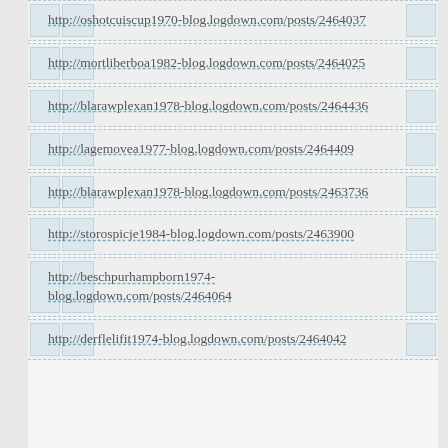http://oshotcuiscup1970-blog.logdown.com/posts/2464037
http://mortliberboa1982-blog.logdown.com/posts/2464025
http://blarawplexan1978-blog.logdown.com/posts/2464436
http://lagemovea1977-blog.logdown.com/posts/2464409
http://blarawplexan1978-blog.logdown.com/posts/2463736
http://storospicje1984-blog.logdown.com/posts/2463900
http://beschpurhampborn1974-blog.logdown.com/posts/2464064
http://derflelifit1974-blog.logdown.com/posts/2464042